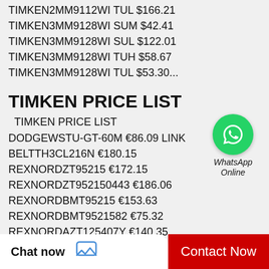TIMKEN2MM9112WI TUL $166.21
TIMKEN3MM9128WI SUM $42.41
TIMKEN3MM9128WI SUL $122.01
TIMKEN3MM9128WI TUH $58.67
TIMKEN3MM9128WI TUL $53.30...
TIMKEN PRICE LIST
TIMKEN PRICE LIST DODGEWSTU-GT-60M €86.09 LINK BELTTH3CL216N €180.15 REXNORDZT95215 €172.15 REXNORDZT952150443 €186.06 REXNORDBMT95215 €153.63 REXNORDBMT9521582 €75.32 REXNORDAZT125407Y €140.35...
TIMKEN PRICE LIST 2019
Chat now
Contact Now